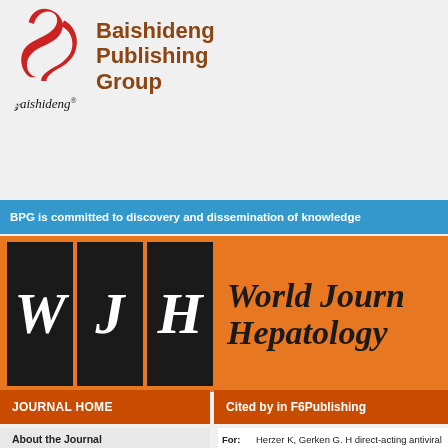[Figure (logo): Baishideng Publishing Group logo with stylized red B letter mark and text 'Baishideng Publishing Group' in brown, with script 'Baishideng®' below logo]
BPG is committed to discovery and dissemination of knowledge
[Figure (logo): World Journal of Hepatology journal header with WJH letters in dark boxes on orange background, journal name in italic serif]
JOURNAL HOME
Cited by in F6Publishing
For: Herzer K, Gerken G. H... direct-acting antiviral a... 10.4254/wjh.v7.i3.532] Citation Analysis]
| Number |
| --- |
| Dengu F, Abbas SH, B... Therapeutic Interven... |
About the Journal
All Issues
Article Processing Charge
Conflict-of-Interest Statement
Contact Us
Copyright License Agreement